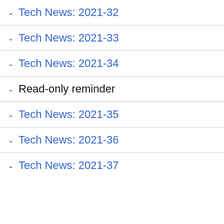Tech News: 2021-32
Tech News: 2021-33
Tech News: 2021-34
Read-only reminder
Tech News: 2021-35
Tech News: 2021-36
Tech News: 2021-37